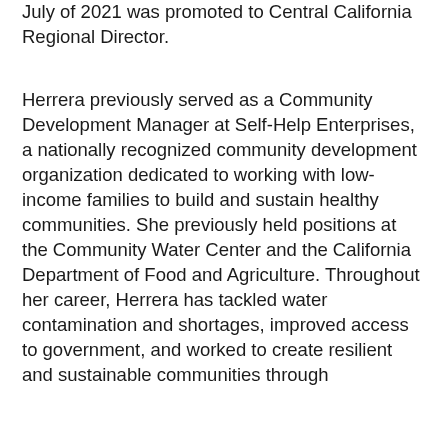July of 2021 was promoted to Central California Regional Director.
Herrera previously served as a Community Development Manager at Self-Help Enterprises, a nationally recognized community development organization dedicated to working with low-income families to build and sustain healthy communities. She previously held positions at the Community Water Center and the California Department of Food and Agriculture. Throughout her career, Herrera has tackled water contamination and shortages, improved access to government, and worked to create resilient and sustainable communities through